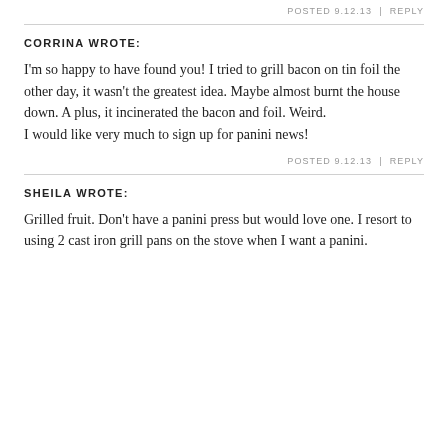POSTED 9.12.13 | REPLY
CORRINA WROTE:
I'm so happy to have found you! I tried to grill bacon on tin foil the other day, it wasn't the greatest idea. Maybe almost burnt the house down. A plus, it incinerated the bacon and foil. Weird.
I would like very much to sign up for panini news!
POSTED 9.12.13 | REPLY
SHEILA WROTE:
Grilled fruit. Don't have a panini press but would love one. I resort to using 2 cast iron grill pans on the stove when I want a panini.